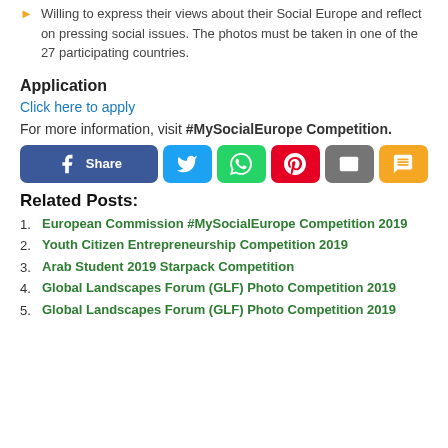Willing to express their views about their Social Europe and reflect on pressing social issues. The photos must be taken in one of the 27 participating countries.
Application
Click here to apply
For more information, visit #MySocialEurope Competition.
[Figure (other): Social share buttons: Facebook Share, Twitter, WhatsApp, Pinterest, Email, SMS]
Related Posts:
European Commission #MySocialEurope Competition 2019
Youth Citizen Entrepreneurship Competition 2019
Arab Student 2019 Starpack Competition
Global Landscapes Forum (GLF) Photo Competition 2019
Global Landscapes Forum (GLF) Photo Competition 2019